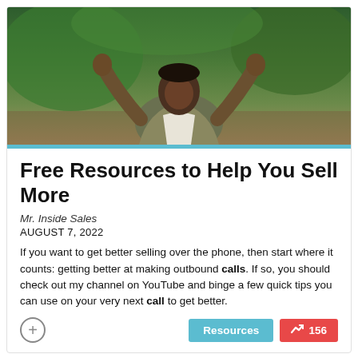[Figure (photo): Person with arms raised looking upward outdoors with green foliage background]
Free Resources to Help You Sell More
Mr. Inside Sales
AUGUST 7, 2022
If you want to get better selling over the phone, then start where it counts: getting better at making outbound calls. If so, you should check out my channel on YouTube and binge a few quick tips you can use on your very next call to get better.